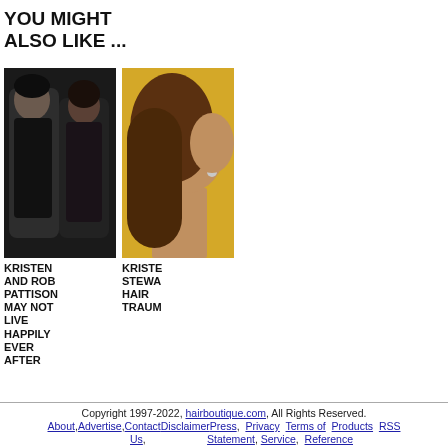YOU MIGHT ALSO LIKE ...
[Figure (photo): Thumbnail photo of Kristen Stewart and Rob Pattinson together at an event, dark clothing]
KRISTEN AND ROB PATTISON MAY NOT LIVE HAPPILY EVER AFTER
[Figure (photo): Thumbnail photo of Kristen Stewart profile view with hair detail, yellow background]
KRISTE STEWA HAIR TRAUM
Copyright 1997-2022, hairboutique.com, All Rights Reserved. About, Advertise, Contact Disclaimer Press, Privacy Terms of Products RSS Us, Statement, Service, Reference